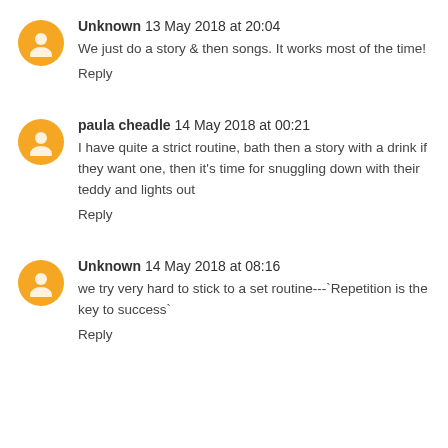Unknown  13 May 2018 at 20:04
We just do a story & then songs. It works most of the time!
Reply
paula cheadle  14 May 2018 at 00:21
I have quite a strict routine, bath then a story with a drink if they want one, then it's time for snuggling down with their teddy and lights out
Reply
Unknown  14 May 2018 at 08:16
we try very hard to stick to a set routine---`Repetition is the key to success`
Reply